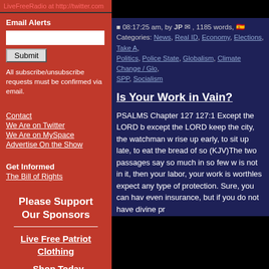LiveFreeRadio at http://twitter.com
Email Alerts
All subscribe/unsubscribe requests must be confirmed via email.
Contact
We Are on Twitter
We Are on MySpace
Advertise On the Show
Get Informed
The Bill of Rights
Please Support Our Sponsors
Live Free Patriot Clothing
Shop Today
08:17:25 am, by JP , 1185 words, Categories: News, Real ID, Economy, Elections, Take A, Politics, Police State, Globalism, Climate Change / Glo, SPP, Socialism
Is Your Work in Vain?
PSALMS Chapter 127 127:1 Except the LORD b except the LORD keep the city, the watchman w rise up early, to sit up late, to eat the bread of so (KJV)The two passages say so much in so few w is not in it, then your labor, your work is worthles expect any type of protection. Sure, you can hav even insurance, but if you do not have divine pr
Tags: christianity hope, church, future, gods word, righ
• 1 comment